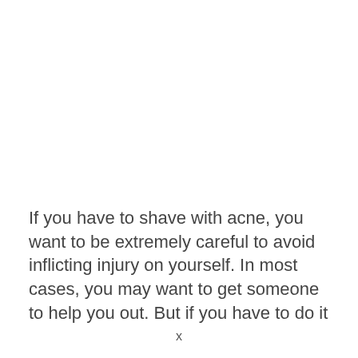If you have to shave with acne, you want to be extremely careful to avoid inflicting injury on yourself. In most cases, you may want to get someone to help you out. But if you have to do it
x